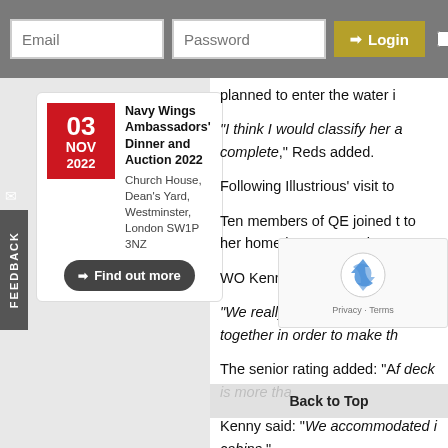Email | Password | Login | Remember Me
[Figure (screenshot): Event card for Navy Wings Ambassadors' Dinner and Auction 2022, dated 03 NOV 2022, at Church House, Dean's Yard, Westminster, London SW1P 3NZ, with a Find out more button]
planned to enter the water in
“I think I would classify her a complete,” Reds added.
Following Illustrious’ visit to
Ten members of QE joined t to her home in Portsmouth –
WO Kenny Reid said: “We h
“We really need to understar together in order to make th
The senior rating added: “Af deck is more tha
Kenny said: “We accommodated i cabins.”
HMS Illustrious is due to be first of class flying trials with